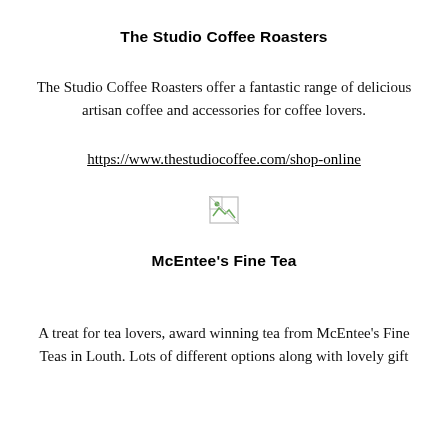The Studio Coffee Roasters
The Studio Coffee Roasters offer a fantastic range of delicious artisan coffee and accessories for coffee lovers.
https://www.thestudiocoffee.com/shop-online
[Figure (other): Broken/missing image placeholder icon]
McEntee's Fine Tea
A treat for tea lovers, award winning tea from McEntee's Fine Teas in Louth. Lots of different options along with lovely gift